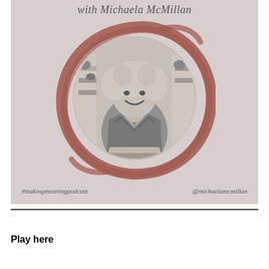[Figure (photo): Podcast promotional image for Making Meaning Podcast with Michaela McMillan. Shows a smiling woman with curly blonde hair in a decorative shop setting, displayed in black and white inside a circular frame surrounded by a painted brush-stroke circle in dusty rose/mauve color. Background is light pink/beige. Hashtag #makingmeaningpodcast on bottom left, @michaelamcmillan on bottom right. Text at top reads 'with Michaela McMillan' in italic serif font.]
Play here